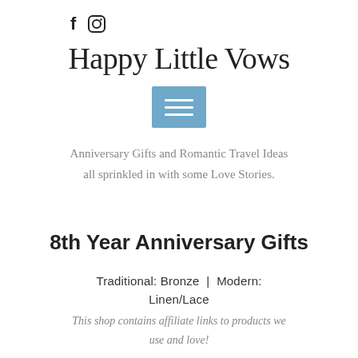[Figure (other): Social media icons: Facebook (f) and Instagram (circle camera) icons in dark color]
Happy Little Vows
[Figure (other): Blue hamburger menu button with three white horizontal lines]
Anniversary Gifts and Romantic Travel Ideas all sprinkled in with some Love Stories.
8th Year Anniversary Gifts
Traditional: Bronze | Modern: Linen/Lace
This shop contains affiliate links to products we use and love!